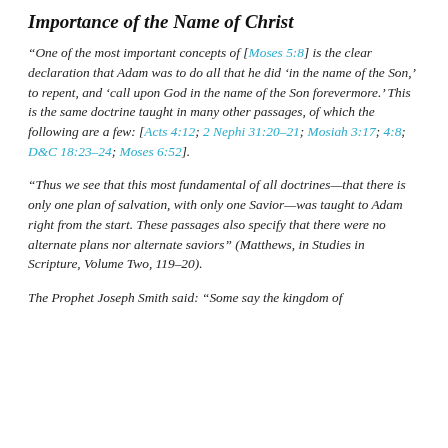Importance of the Name of Christ
“One of the most important concepts of [Moses 5:8] is the clear declaration that Adam was to do all that he did ‘in the name of the Son,’ to repent, and ‘call upon God in the name of the Son forevermore.’ This is the same doctrine taught in many other passages, of which the following are a few: [Acts 4:12; 2 Nephi 31:20–21; Mosiah 3:17; 4:8; D&C 18:23–24; Moses 6:52].
“Thus we see that this most fundamental of all doctrines—that there is only one plan of salvation, with only one Savior—was taught to Adam right from the start. These passages also specify that there were no alternate plans nor alternate saviors” (Matthews, in Studies in Scripture, Volume Two, 119–20).
The Prophet Joseph Smith said: “Some say the kingdom of